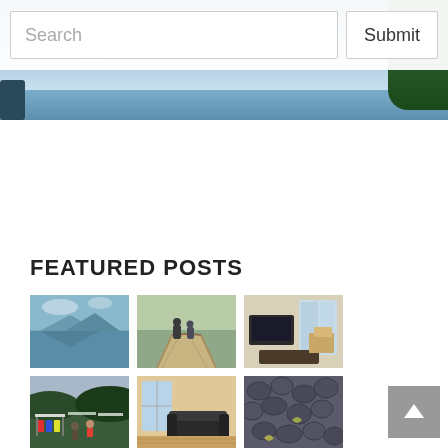[Figure (screenshot): Search bar with text input and Submit button over a hero landscape banner showing lake, sky, and trees]
FEATURED POSTS
[Figure (photo): Lake and mountain reflection landscape photo]
[Figure (photo): Pier or boardwalk with people]
[Figure (photo): Interior living room with TV and chairs]
[Figure (photo): Outdoor market with clothing stalls and hills]
[Figure (photo): Interior room with sofa and wooden floor]
[Figure (photo): Shellfish, mussels or clams close-up]
[Figure (photo): Hand-drawn map or sketch]
[Figure (photo): Group of people posing outdoors]
[Figure (photo): Underwater cave with blue and green light]